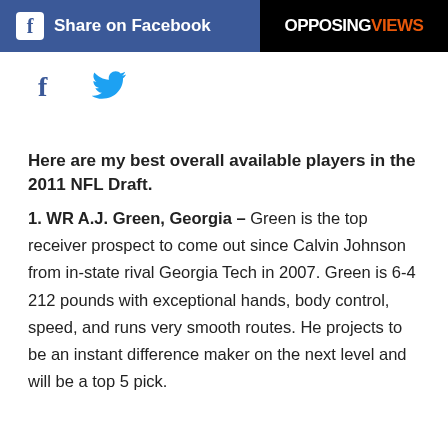Share on Facebook | OPPOSINGVIEWS
[Figure (infographic): Facebook and Twitter social share icons]
Here are my best overall available players in the 2011 NFL Draft.
1. WR A.J. Green, Georgia – Green is the top receiver prospect to come out since Calvin Johnson from in-state rival Georgia Tech in 2007. Green is 6-4 212 pounds with exceptional hands, body control, speed, and runs very smooth routes. He projects to be an instant difference maker on the next level and will be a top 5 pick.